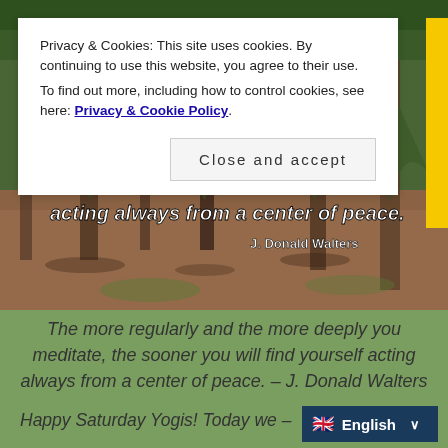[Figure (photo): Forest scene with weeping conifer trees and reddish ground cover. Overlaid text reads: 'acting always from a center of peace.' attributed to J. Donald Walters]
Privacy & Cookies: This site uses cookies. By continuing to use this website, you agree to their use.
To find out more, including how to control cookies, see here: Privacy & Cookie Policy
Close and accept
The more regularly and the more deeply you meditate, the sooner you will find yourself acting always from a center of peace. – J. Donald Walters
Happy Saturday Yogis! Today we –
English